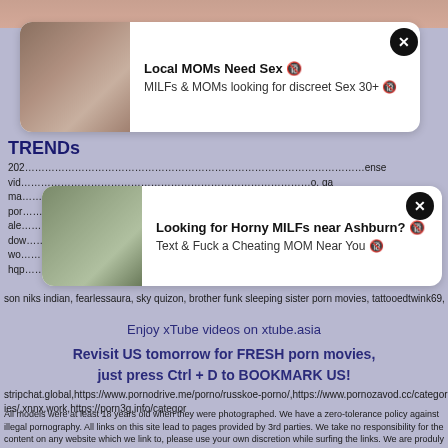[Figure (photo): Top image strip showing skin-colored background]
[Figure (photo): Ad card with woman photo - Local MOMs Need Sex]
Local MOMs Need Sex 🔞
MILFs & MOMs looking for discreet Sex 30+ 🔞
TRENDs
2020... ense vid... o, ga ma... mily por... ale... x vide dow... elayu wo... hqp... mo son niks indian, fearlessaura, sky quizon, brother funk sleeping sister porn movies, tattooedtwink69,
[Figure (photo): Ad card with woman photo - Looking for Horny MILFs near Ashburn?]
Looking for Horny MILFs near Ashburn? 🔞
Text & Fuck a Cheating MOM Near You 🔞
Enjoy xTube videos on xtube.asia
Revisit US tomorrow for FRESH porn movies, just press Ctrl + D to BOOKMARK US!
stripchat.global,https://www.pornodrive.me/porno/russkoe-porno/,https://www.pornozavod.cc/categories/,xnnx.work,https://porn3g.info/categor
All models were at least 18 years old when they were photographed. We have a zero-tolerance policy against illegal pornography. All links on this site lead to pages provided by 3rd parties. We take no responsibility for the content on any website which we link to, please use your own discretion while surfing the links. We are produly labeled with the ICRA.
japanese adult web, horny mature orgasm, iwant anal, kidnapping porn, javtube, XnXX, xVideos, be Xxx, got.sex, xHamster, YouPorn